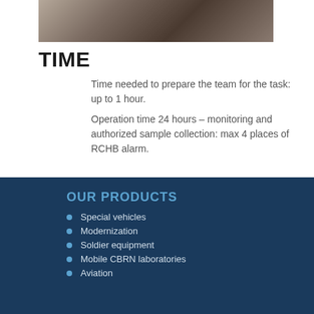[Figure (photo): Partial view of a special military/CBRN vehicle with equipment mounted on top, viewed from the side.]
TIME
Time needed to prepare the team for the task: up to 1 hour.
Operation time 24 hours – monitoring and authorized sample collection: max 4 places of RCHB alarm.
OUR PRODUCTS
Special vehicles
Modernization
Soldier equipment
Mobile CBRN laboratories
Aviation